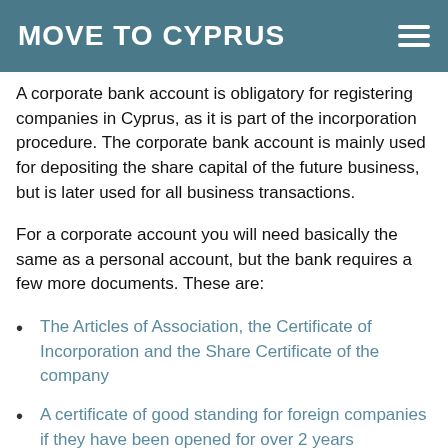MOVE TO CYPRUS
A corporate bank account is obligatory for registering companies in Cyprus, as it is part of the incorporation procedure. The corporate bank account is mainly used for depositing the share capital of the future business, but is later used for all business transactions.
For a corporate account you will need basically the same as a personal account, but the bank requires a few more documents. These are:
The Articles of Association, the Certificate of Incorporation and the Share Certificate of the company
A certificate of good standing for foreign companies if they have been opened for over 2 years
The Certificates of Directors and Secretary, the Certificate of the Registered Office...